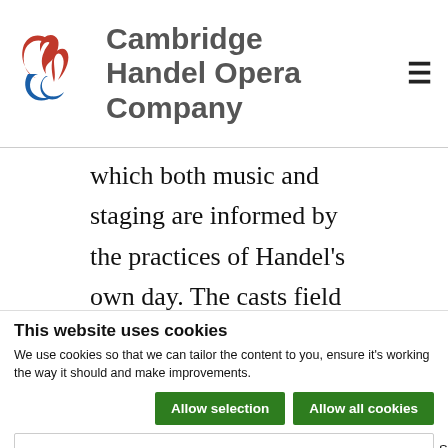[Figure (logo): Cambridge Handel Opera Company logo with stylized CHC letters in red and blue, followed by the text 'Cambridge Handel Opera Company' in grey]
which both music and staging are informed by the practices of Handel's own day. The casts field
This website uses cookies
We use cookies so that we can tailor the content to you, ensure it's working the way it should and make improvements.
Allow selection | Allow all cookies | Necessary | Functionality | Performance | Marketing | Show details